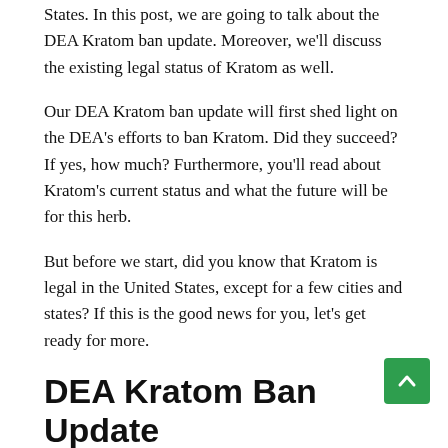States. In this post, we are going to talk about the DEA Kratom ban update. Moreover, we'll discuss the existing legal status of Kratom as well.
Our DEA Kratom ban update will first shed light on the DEA's efforts to ban Kratom. Did they succeed? If yes, how much? Furthermore, you'll read about Kratom's current status and what the future will be for this herb.
But before we start, did you know that Kratom is legal in the United States, except for a few cities and states? If this is the good news for you, let's get ready for more.
DEA Kratom Ban Update
2016 marked its significance for being an anti-Kratom year in the US, although it did backlash. If you're a regular Kratom buyer, you'd be aware of the consequences DEA had to face. And there's no need to mention Kratom is a herb extracted from the Mitragyna Speciosa plant.